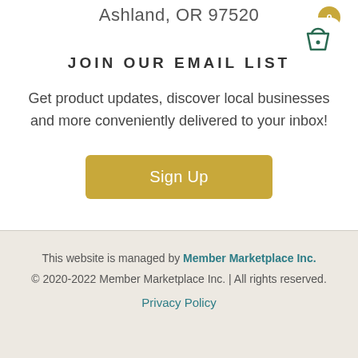Ashland, OR 97520
[Figure (illustration): Shopping cart icon in a rounded white box with a gold badge showing 0]
JOIN OUR EMAIL LIST
Get product updates, discover local businesses and more conveniently delivered to your inbox!
Sign Up
This website is managed by Member Marketplace Inc. © 2020-2022 Member Marketplace Inc. | All rights reserved. Privacy Policy